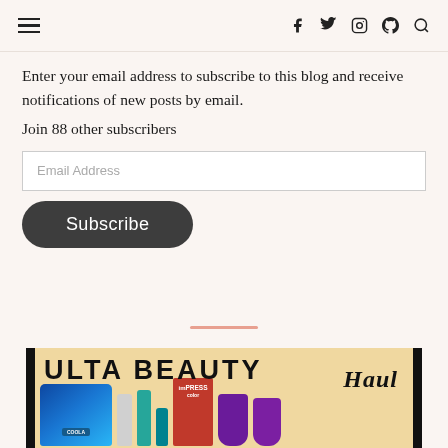≡  f  𝕏  📷  𝗣  🔍
Enter your email address to subscribe to this blog and receive notifications of new posts by email.
Join 88 other subscribers
Email Address
Subscribe
[Figure (photo): Ulta Beauty Haul promotional image showing beauty products including a blue Coola bag, product bottles, an imPRESS Color nail product box, and purple makeup sponges on a golden background with black border]